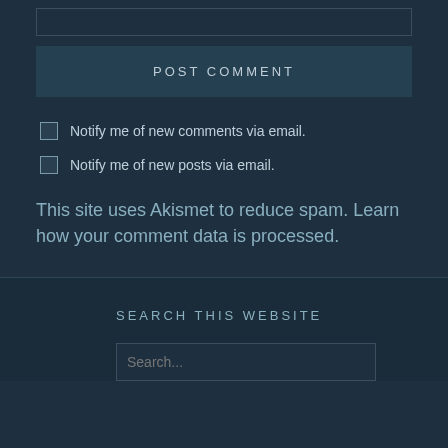POST COMMENT
Notify me of new comments via email.
Notify me of new posts via email.
This site uses Akismet to reduce spam. Learn how your comment data is processed.
SEARCH THIS WEBSITE